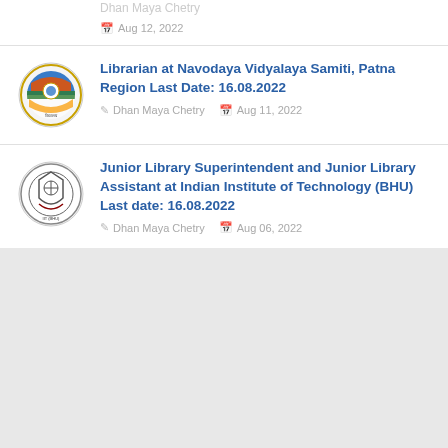Librarian at Navodaya Vidyalaya Samiti, Patna Region Last Date: 16.08.2022
Dhan Maya Chetry  Aug 11, 2022
Junior Library Superintendent and Junior Library Assistant at Indian Institute of Technology (BHU) Last date: 16.08.2022
Dhan Maya Chetry  Aug 06, 2022